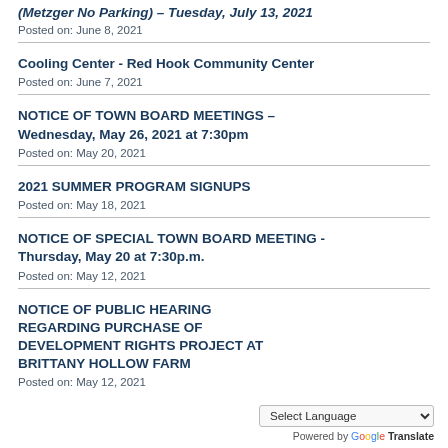(Metzger No Parking) – Tuesday, July 13, 2021
Posted on: June 8, 2021
Cooling Center - Red Hook Community Center
Posted on: June 7, 2021
NOTICE OF TOWN BOARD MEETINGS – Wednesday, May 26, 2021 at 7:30pm
Posted on: May 20, 2021
2021 SUMMER PROGRAM SIGNUPS
Posted on: May 18, 2021
NOTICE OF SPECIAL TOWN BOARD MEETING - Thursday, May 20 at 7:30p.m.
Posted on: May 12, 2021
NOTICE OF PUBLIC HEARING REGARDING PURCHASE OF DEVELOPMENT RIGHTS PROJECT AT BRITTANY HOLLOW FARM
Posted on: May 12, 2021